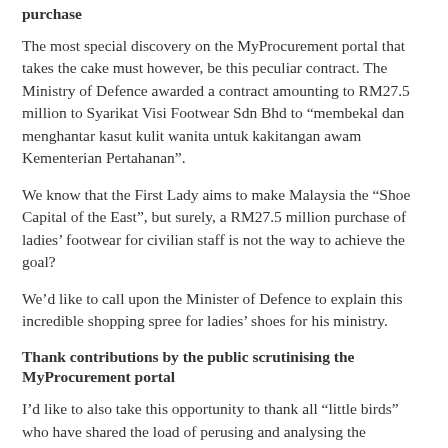purchase
The most special discovery on the MyProcurement portal that takes the cake must however, be this peculiar contract. The Ministry of Defence awarded a contract amounting to RM27.5 million to Syarikat Visi Footwear Sdn Bhd to “membekal dan menghantar kasut kulit wanita untuk kakitangan awam Kementerian Pertahanan”.
We know that the First Lady aims to make Malaysia the “Shoe Capital of the East”, but surely, a RM27.5 million purchase of ladies’ footwear for civilian staff is not the way to achieve the goal?
We’d like to call upon the Minister of Defence to explain this incredible shopping spree for ladies’ shoes for his ministry.
Thank contributions by the public scrutinising the MyProcurement portal
I’d like to also take this opportunity to thank all “little birds” who have shared the load of perusing and analysing the